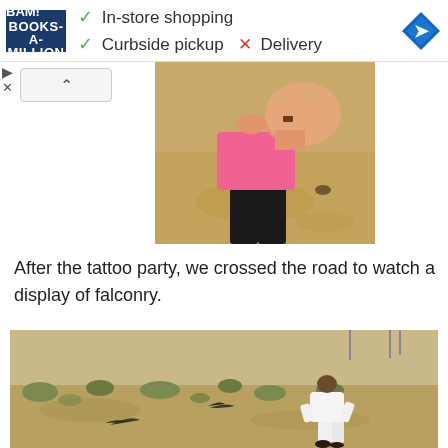[Figure (screenshot): BAM Books-A-Million advertisement banner showing in-store shopping checkmark, curbside pickup checkmark, delivery X mark, and navigation icon]
[Figure (photo): Partial view of a person wearing a pink tank top and black pants standing on sand, with arm raised toward camera]
After the tattoo party, we crossed the road to watch a display of falconry.
[Figure (photo): Person in white clothing standing in a desert landscape with scrubby vegetation, with a bird (falcon) flying nearby]